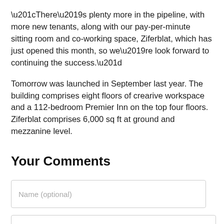“There’s plenty more in the pipeline, with more new tenants, along with our pay-per-minute sitting room and co-working space, Ziferblat, which has just opened this month, so we’re look forward to continuing the success.”
Tomorrow was launched in September last year. The building comprises eight floors of crearive workspace and a 112-bedroom Premier Inn on the top four floors. Ziferblat comprises 6,000 sq ft at ground and mezzanine level.
Your Comments
Name (optional)